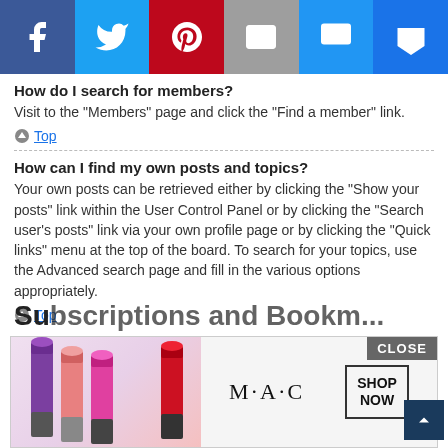[Figure (screenshot): Social media share bar with Facebook, Twitter, Pinterest, Email, SMS/messaging, and crown/bookmark icons]
How do I search for members?
Visit to the "Members" page and click the "Find a member" link.
Top
How can I find my own posts and topics?
Your own posts can be retrieved either by clicking the "Show your posts" link within the User Control Panel or by clicking the "Search user's posts" link via your own profile page or by clicking the "Quick links" menu at the top of the board. To search for your topics, use the Advanced search page and fill in the various options appropriately.
Top
Subscriptions and Bookmarks
[Figure (screenshot): MAC cosmetics advertisement overlay showing lipsticks with SHOP NOW button and CLOSE button]